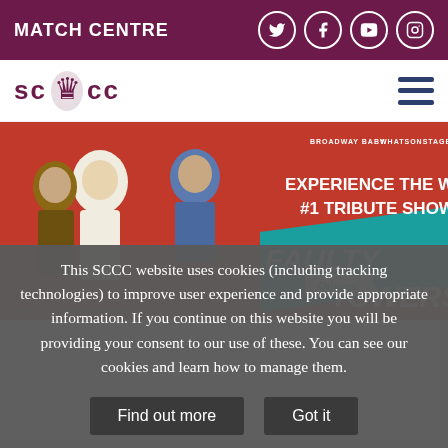MATCH CENTRE
[Figure (logo): SCCC cricket club logo with lion crest]
[Figure (photo): Faulty Towers interactive dining experience promotional banner — red background with performers in costume, text: EXPERIENCE THE WORLD'S #1 TRIBUTE SHOW, FAULTY TOWERS Original, SCCC INTERACTIVE DINING EXPERIENCE SATURDAY 23 OCTOBER 2023]
This SCCC website uses cookies (including tracking technologies) to improve user experience and provide appropriate information. If you continue on this website you will be providing your consent to our use of these. You can see our cookies and learn how to manage them.
Find out more
Got it